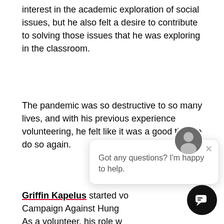interest in the academic exploration of social issues, but he also felt a desire to contribute to solving those issues that he was exploring in the classroom.
The pandemic was so destructive to so many lives, and with his previous experience volunteering, he felt like it was a good time to do so again.
Griffin Kapelus started vo Campaign Against Hung As a volunteer, his role w time there continued and he took on additional hours, the role grew. He began to spend a lot more time doing client-facing parts of volunteering. Interacting with some of whom had been food insecure for many years,
[Figure (screenshot): Chat popup widget with avatar photo of a young man, close button (×), and text 'Got any questions? I'm happy to help.' A black circular chat button appears in the bottom right corner.]